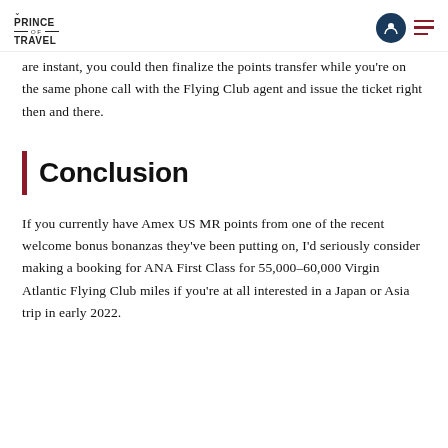Prince of Travel
are instant, you could then finalize the points transfer while you're on the same phone call with the Flying Club agent and issue the ticket right then and there.
Conclusion
If you currently have Amex US MR points from one of the recent welcome bonus bonanzas they've been putting on, I'd seriously consider making a booking for ANA First Class for 55,000–60,000 Virgin Atlantic Flying Club miles if you're at all interested in a Japan or Asia trip in early 2022.